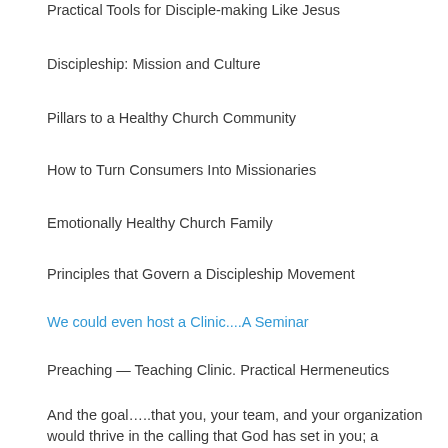Practical Tools for Disciple-making Like Jesus
Discipleship:  Mission and Culture
Pillars to a Healthy Church Community
How to Turn Consumers Into Missionaries
Emotionally Healthy Church Family
Principles that Govern a Discipleship Movement
We could even host a Clinic....A Seminar
Preaching — Teaching Clinic.  Practical Hermeneutics
And the goal…..that you, your team, and your organization would thrive in the calling that God has set in you;  a potential that needs to be re-discovered!